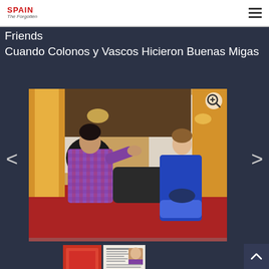SPAIN The Forgotten
Friends
Cuando Colonos y Vascos Hicieron Buenas Migas
[Figure (photo): Two women seated in an ornate room with red carpet, gold curtains, and dark wood paneling. One woman wearing a purple/red patterned jacket gestures while speaking to a younger woman in a blue cardigan who sits with crossed legs.]
[Figure (photo): Small red thumbnail image, appears to be a cropped version of the main photo.]
[Figure (photo): Small newspaper clipping thumbnail showing an article with a photo of a woman.]